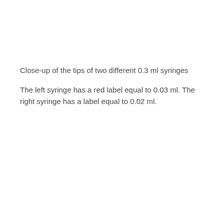Close-up of the tips of two different 0.3 ml syringes
The left syringe has a red label equal to 0.03 ml. The right syringe has a label equal to 0.02 ml.